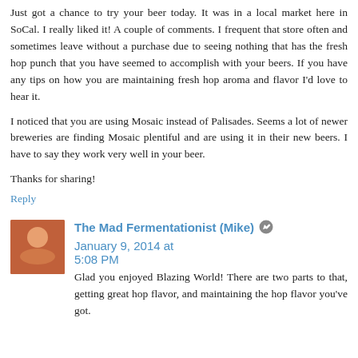Just got a chance to try your beer today. It was in a local market here in SoCal. I really liked it! A couple of comments. I frequent that store often and sometimes leave without a purchase due to seeing nothing that has the fresh hop punch that you have seemed to accomplish with your beers. If you have any tips on how you are maintaining fresh hop aroma and flavor I'd love to hear it.
I noticed that you are using Mosaic instead of Palisades. Seems a lot of newer breweries are finding Mosaic plentiful and are using it in their new beers. I have to say they work very well in your beer.
Thanks for sharing!
Reply
The Mad Fermentationist (Mike) January 9, 2014 at 5:08 PM
Glad you enjoyed Blazing World! There are two parts to that, getting great hop flavor, and maintaining the hop flavor you've got.